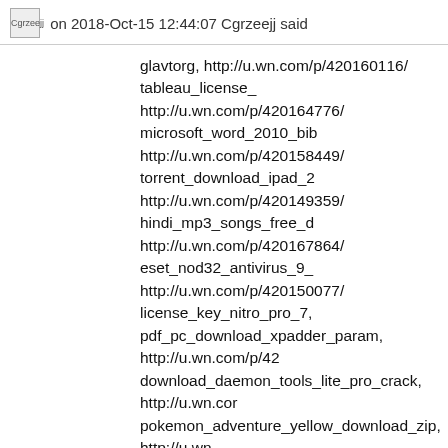Cgrzeejj on 2018-Oct-15 12:44:07 Cgrzeejj said
glavtorg, http://u.wn.com/p/420160116/ tableau_license_ http://u.wn.com/p/420164776/ microsoft_word_2010_bib http://u.wn.com/p/420158449/ torrent_download_ipad_2 http://u.wn.com/p/420149359/ hindi_mp3_songs_free_d http://u.wn.com/p/420167864/ eset_nod32_antivirus_9_ http://u.wn.com/p/420150077/ license_key_nitro_pro_7, pdf_pc_download_xpadder_param, http://u.wn.com/p/42 download_daemon_tools_lite_pro_crack, http://u.wn.cor pokemon_adventure_yellow_download_zip, http://u.wn. licence_key_for_the_last_of_us_pc, https://u.wn.com/2018/10/14/How_to_find_your_license how_to_find_your_license_key_windows_8.1, http://u.w pdf_creator_download_gratis_windows_7, http://u.wn.co ytd_license_key_5.1.1, http://u.wn.com/p/420157084/ download_hanuman_chalisa_in_pdf_format_in_hindi, ht license_key_itools_4.3.6.9, http://u.wn.com/p/420160055 acer_e15_wifi_driver_for_windows_7_32_bit_free_dows windows_7_ultimate_64_bit_product_key_generator_dc http://u.wn.com/p/420149732/ download_full_quran_pdf http://u.wn.com/p/420152978/ download_gta_vice_city_ http://u.wn.com/p/420155041/ download_key_generator